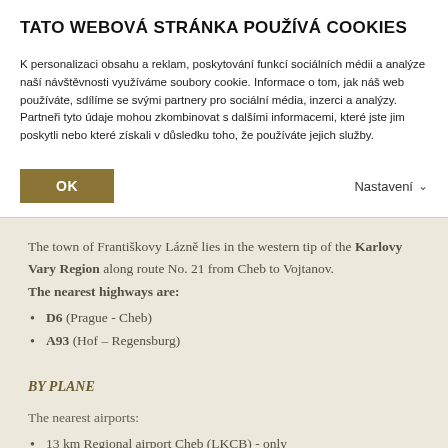TATO WEBOVÁ STRÁNKA POUŽÍVÁ COOKIES
K personalizaci obsahu a reklam, poskytování funkcí sociálních médii a analýze naší návštěvnosti využíváme soubory cookie. Informace o tom, jak náš web používáte, sdílíme se svými partnery pro sociální média, inzerci a analýzy. Partneři tyto údaje mohou zkombinovat s dalšími informacemi, které jste jim poskytli nebo které získali v důsledku toho, že používáte jejich služby.
OK
Nastavení
The town of Františkovy Lázně lies in the western tip of the Karlovy Vary Region along route No. 21 from Cheb to Vojtanov. The nearest highways are:
D6 (Prague - Cheb)
A93 (Hof – Regensburg)
BY PLANE
The nearest airports:
13 km Regional airport Cheb (LKCB) - only